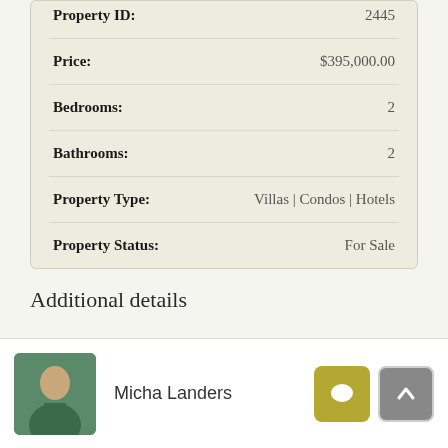| Field | Value |
| --- | --- |
| Property ID: | 2445 |
| Price: | $395,000.00 |
| Bedrooms: | 2 |
| Bathrooms: | 2 |
| Property Type: | Villas | Condos | Hotels |
| Property Status: | For Sale |
Additional details
Micha Landers